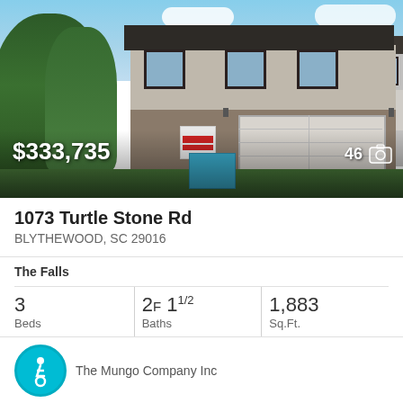[Figure (photo): Exterior photo of a two-story residential home with tan/gray siding, dark roof, white garage door, and a for-sale sign in the front yard. Sky is blue with clouds. Trees visible on the left.]
$333,735
46
1073 Turtle Stone Rd
BLYTHEWOOD, SC 29016
The Falls
3 Beds
2F 1 1/2 Baths
1,883 Sq.Ft.
The Mungo Company Inc
[Figure (photo): Thumbnail strip of additional property photos showing exterior/landscape views]